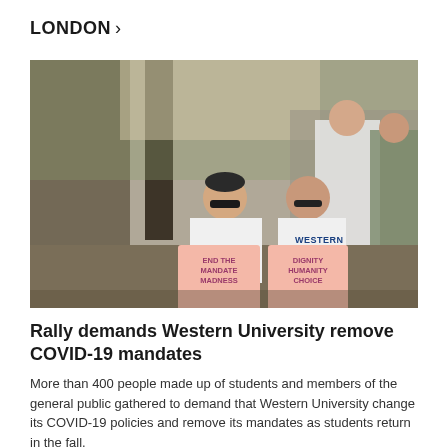LONDON >
[Figure (photo): Two people sitting outdoors holding protest signs reading 'END THE MANDATE MADNESS' and 'DIGNITY HUMANITY CHOICE'. One person wears a Western University t-shirt. Other people visible in the background.]
Rally demands Western University remove COVID-19 mandates
More than 400 people made up of students and members of the general public gathered to demand that Western University change its COVID-19 policies and remove its mandates as students return in the fall.